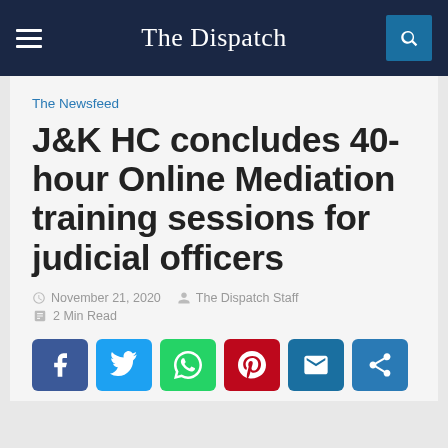The Dispatch
The Newsfeed
J&K HC concludes 40- hour Online Mediation training sessions for judicial officers
November 21, 2020 · The Dispatch Staff
2 Min Read
[Figure (other): Social sharing buttons: Facebook, Twitter, WhatsApp, Pinterest, Email, Share]